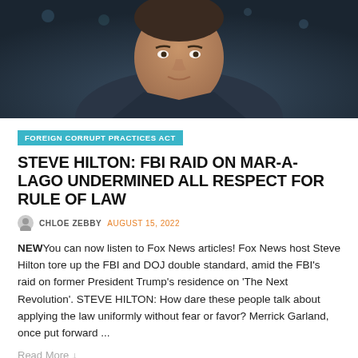[Figure (photo): A man in a dark blazer and gray shirt against a blurred city/studio background at night]
FOREIGN CORRUPT PRACTICES ACT
STEVE HILTON: FBI RAID ON MAR-A-LAGO UNDERMINED ALL RESPECT FOR RULE OF LAW
CHLOE ZEBBY  AUGUST 15, 2022
NEWYou can now listen to Fox News articles! Fox News host Steve Hilton tore up the FBI and DOJ double standard, amid the FBI's raid on former President Trump's residence on 'The Next Revolution'. STEVE HILTON: How dare these people talk about applying the law uniformly without fear or favor? Merrick Garland, once put forward ...
Read More